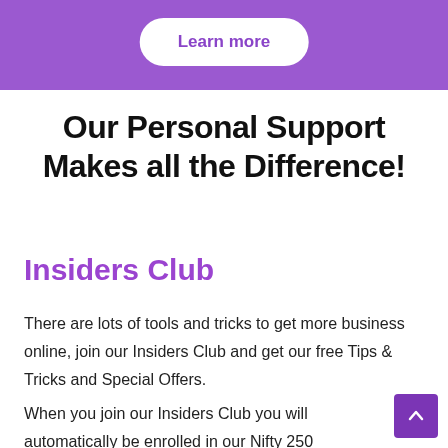[Figure (other): Purple banner bar at top of page with a 'Learn more' button in a white pill/capsule shape]
Our Personal Support Makes all the Difference!
Insiders Club
There are lots of tools and tricks to get more business online, join our Insiders Club and get our free Tips & Tricks and Special Offers.
When you join our Insiders Club you will automatically be enrolled in our Nifty 250